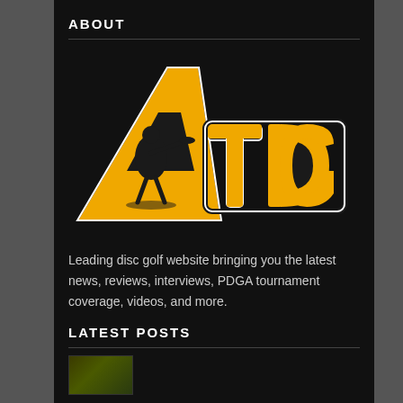ABOUT
[Figure (logo): ATDG disc golf website logo — a yellow letter A with a disc golfer silhouette, followed by bold TDG text]
Leading disc golf website bringing you the latest news, reviews, interviews, PDGA tournament coverage, videos, and more.
LATEST POSTS
[Figure (photo): Thumbnail image for a latest post, partially visible at bottom of page]